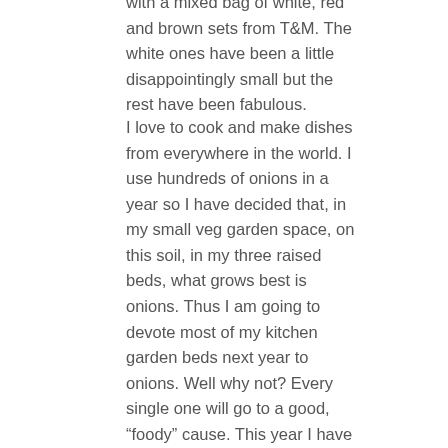with a mixed bag of white, red and brown sets from T&M. The white ones have been a little disappointingly small but the rest have been fabulous.
I love to cook and make dishes from everywhere in the world. I use hundreds of onions in a year so I have decided that, in my small veg garden space, on this soil, in my three raised beds, what grows best is onions. Thus I am going to devote most of my kitchen garden beds next year to onions. Well why not? Every single one will go to a good, “foody” cause. This year I have ordered Hercules, Hi-Tech and Red Baron. They’ll be going in as soon as I have weeded the beds and the weather improves.